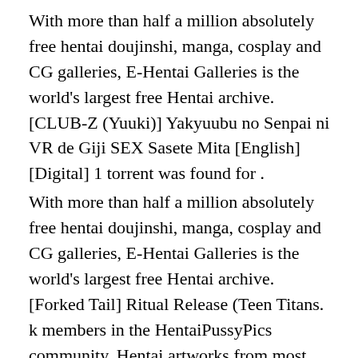With more than half a million absolutely free hentai doujinshi, manga, cosplay and CG galleries, E-Hentai Galleries is the world's largest free Hentai archive. [CLUB-Z (Yuuki)] Yakyuubu no Senpai ni VR de Giji SEX Sasete Mita [English] [Digital] 1 torrent was found for .
With more than half a million absolutely free hentai doujinshi, manga, cosplay and CG galleries, E-Hentai Galleries is the world's largest free Hentai archive. [Forked Tail] Ritual Release (Teen Titans. k members in the HentaiPussyPics community. Hentai artworks from most popular Anime,Manga and games. New gallery every single day! Check out Our .
14 pics Girls Night Out:: Avatar Sex Comics pics Hardcore futanari fuck with busty girls 12 pics